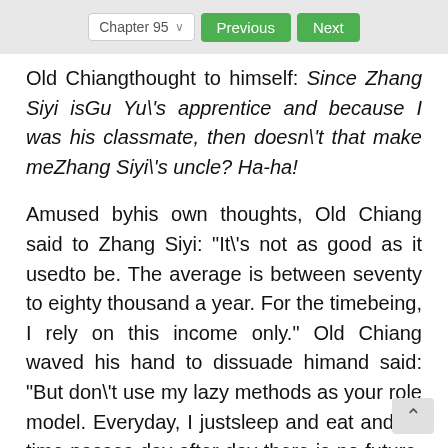Chapter 95 | Previous | Next
Old Chiangthought to himself: Since Zhang Siyi isGu Yu\'s apprentice and because I was his classmate, then doesn\'t that make meZhang Siyi\'s uncle? Ha-ha!
Amused byhis own thoughts, Old Chiang said to Zhang Siyi: "It\'s not as good as it usedto be. The average is between seventy to eighty thousand a year. For the timebeing, I rely on this income only." Old Chiang waved his hand to dissuade himand said: "But don\'t use my lazy methods as your role model. Everyday, I justsleep and eat and as time passes day after day there is no future. Make sureyou follow your director. He is more promising then I.